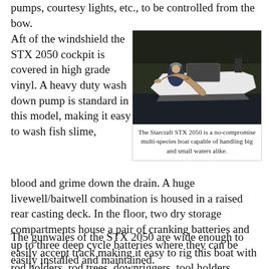pumps, courtesy lights, etc., to be controlled from the bow.
Aft of the windshield the STX 2050 cockpit is covered in high grade vinyl. A heavy duty wash down pump is standard in this model, making it easy to wash fish slime, blood and grime down the drain. A huge livewell/baitwell combination is housed in a raised rear casting deck. In the floor, two dry storage compartments house a pair of cranking batteries and up to three deep cycle batteries where they can be easily installed and maintained.
[Figure (photo): A man on a boat holding a large fish (muskie) while leaning over the side of a white Starcraft STX 2050 boat on dark water with trees in the background.]
The Starcraft STX 2050 is a no-compromise multi-species boat capable of handling big and small waters alike.
The gunwales of the STX 2050 are wide enough to easily accept track making it easy to rig this boat with rod holders, rod trees, downriggers, tool holders, electronics and a host